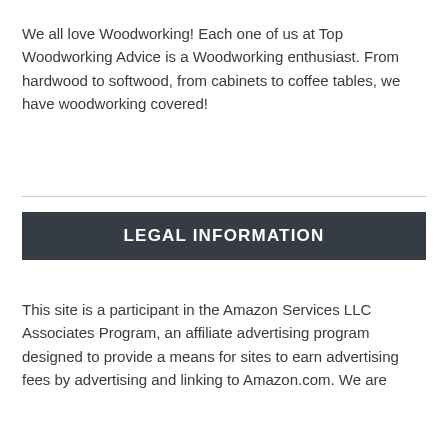We all love Woodworking! Each one of us at Top Woodworking Advice is a Woodworking enthusiast. From hardwood to softwood, from cabinets to coffee tables, we have woodworking covered!
LEGAL INFORMATION
This site is a participant in the Amazon Services LLC Associates Program, an affiliate advertising program designed to provide a means for sites to earn advertising fees by advertising and linking to Amazon.com. We are